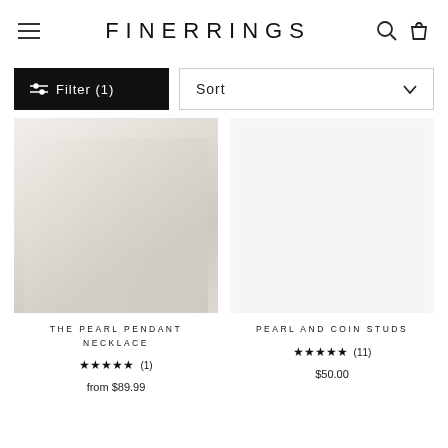FINERRINGS
Filter (1)
Sort
[Figure (photo): Product photo of The Pearl Pendant Necklace on light background]
THE PEARL PENDANT NECKLACE
★★★★★ (1)
from $89.99
[Figure (photo): Product photo of Pearl and Coin Studs on white background]
PEARL AND COIN STUDS
★★★★★ (11)
$50.00